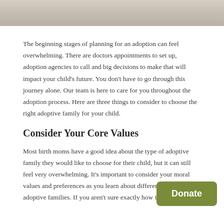[Figure (photo): Cropped photo at top of page showing what appears to be a newborn baby's hand or feet on a white background]
The beginning stages of planning for an adoption can feel overwhelming. There are doctors appointments to set up, adoption agencies to call and big decisions to make that will impact your child's future. You don't have to go through this journey alone. Our team is here to care for you throughout the adoption process. Here are three things to consider to choose the right adoptive family for your child.
Consider Your Core Values
Most birth moms have a good idea about the type of adoptive family they would like to choose for their child, but it can still feel very overwhelming. It's important to consider your moral values and preferences as you learn about different potential adoptive families. If you aren't sure exactly how to